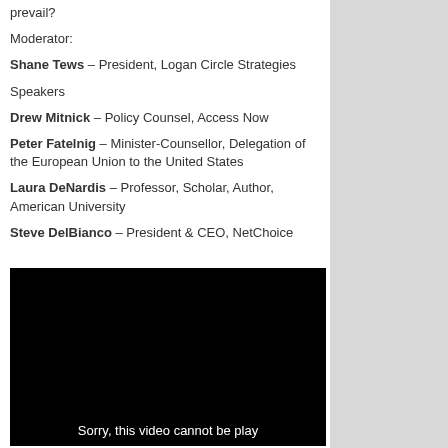prevail?
Moderator:
Shane Tews – President, Logan Circle Strategies
Speakers
Drew Mitnick – Policy Counsel, Access Now
Peter Fatelnig – Minister-Counsellor, Delegation of the European Union to the United States
Laura DeNardis – Professor, Scholar, Author, American University
Steve DelBianco – President & CEO, NetChoice
[Figure (screenshot): Black video player area with text: Sorry, this video cannot be play]